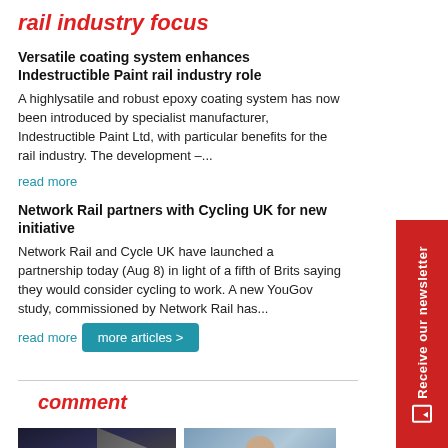rail industry focus
Versatile coating system enhances Indestructible Paint rail industry role
A highlysatile and robust epoxy coating system has now been introduced by specialist manufacturer, Indestructible Paint Ltd, with particular benefits for the rail industry. The development –...
read more
Network Rail partners with Cycling UK for new initiative
Network Rail and Cycle UK have launched a partnership today (Aug 8) in light of a fifth of Brits saying they would consider cycling to work. A new YouGov study, commissioned by Network Rail has...
read more
more articles >
comment
[Figure (photo): Photo of escalators in a train station, viewed from below looking upward]
[Figure (photo): Portrait photo of a man]